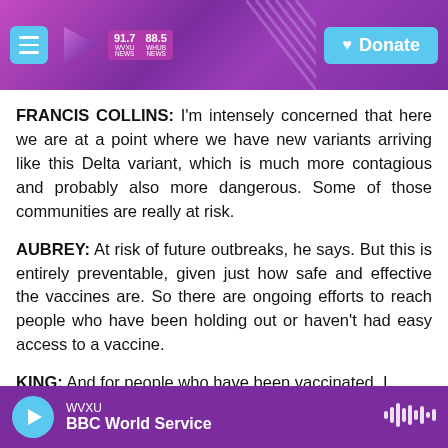[Figure (screenshot): WVXU/WHUB NPR radio station navigation bar with purple gradient background, hamburger menu button, purple play arrow logo, station frequency badges (91.7 WVXU NEWS, 88.5 WHUB NEWS), and cyan Donate button]
FRANCIS COLLINS: I'm intensely concerned that here we are at a point where we have new variants arriving like this Delta variant, which is much more contagious and probably also more dangerous. Some of those communities are really at risk.
AUBREY: At risk of future outbreaks, he says. But this is entirely preventable, given just how safe and effective the vaccines are. So there are ongoing efforts to reach people who have been holding out or haven't had easy access to a vaccine.
KING: And for people who have been vaccinated, I
[Figure (screenshot): WVXU audio player bar at bottom with purple background, cyan play button circle, WVXU label, BBC World Service show title, and waveform icon]